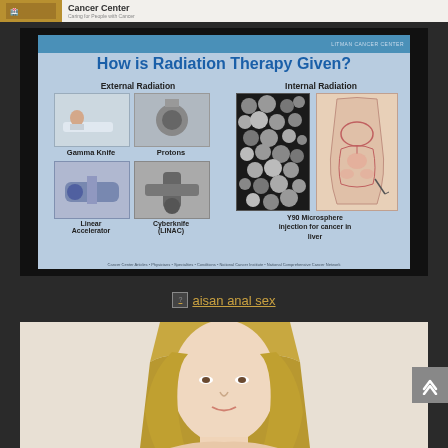[Figure (screenshot): Top banner with cancer center logo and tagline 'Caring for People with Cancer']
[Figure (infographic): Slide titled 'How is Radiation Therapy Given?' showing External Radiation (Gamma Knife, Protons, Linear Accelerator, Cyberknife/LINAC) and Internal Radiation (Y90 Microsphere injection for cancer in liver) with medical equipment and anatomy images]
aisan anal sex
[Figure (photo): Partial photo of a blonde woman, cropped at the bottom of the page]